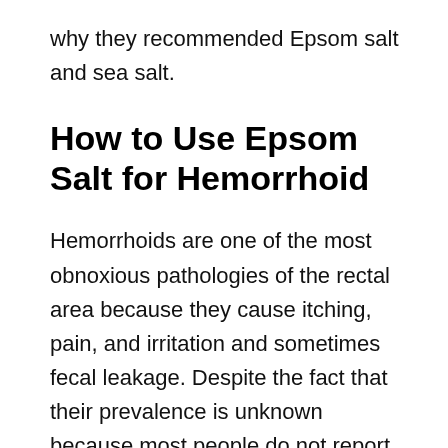why they recommended Epsom salt and sea salt.
How to Use Epsom Salt for Hemorrhoid
Hemorrhoids are one of the most obnoxious pathologies of the rectal area because they cause itching, pain, and irritation and sometimes fecal leakage. Despite the fact that their prevalence is unknown because most people do not report them, many scholars have linked them to the prejudiced quality of life both socially, economically, and physically for the victims.